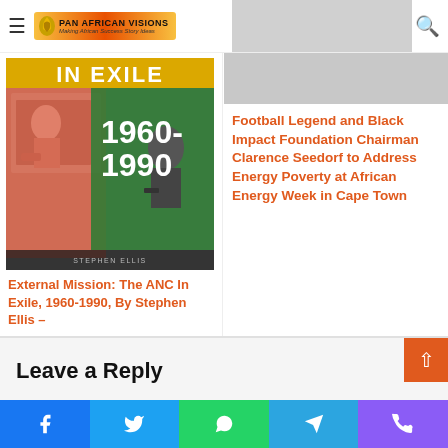Pan African Visions — Making African Success Story Ideas
[Figure (photo): Book cover: External Mission: The ANC In Exile, 1960-1990 by Stephen Ellis]
External Mission: The ANC In Exile, 1960-1990, By Stephen Ellis –
Football Legend and Black Impact Foundation Chairman Clarence Seedorf to Address Energy Poverty at African Energy Week in Cape Town
Leave a Reply